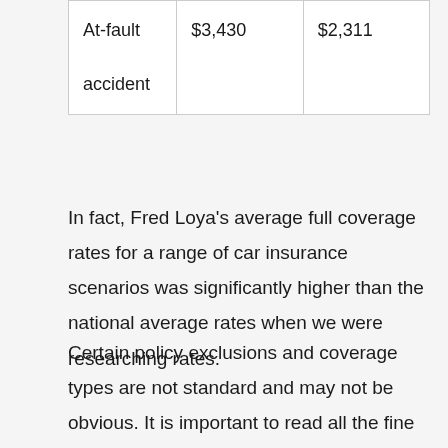| At-fault accident | $3,430 | $2,311 |
In fact, Fred Loya's average full coverage rates for a range of car insurance scenarios was significantly higher than the national average rates when we were researching rates.
Certain policy exclusions and coverage types are not standard and may not be obvious. It is important to read all the fine print.